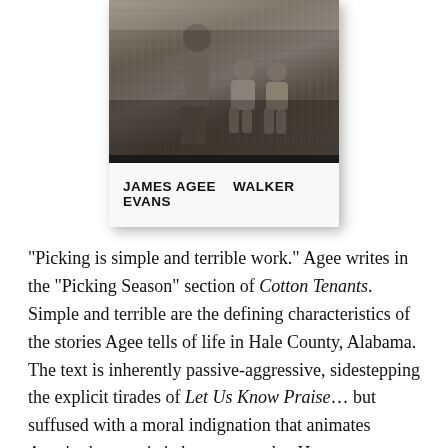[Figure (photo): Book cover showing a black-and-white photograph of figures on a porch with the authors' names 'JAMES AGEE   WALKER EVANS' printed below on a white background panel.]
“Picking is simple and terrible work.” Agee writes in the “Picking Season” section of Cotton Tenants. Simple and terrible are the defining characteristics of the stories Agee tells of life in Hale County, Alabama. The text is inherently passive-aggressive, sidestepping the explicit tirades of Let Us Know Praise… but suffused with a moral indignation that animates Agee’s characteristic hyper-empathy. He